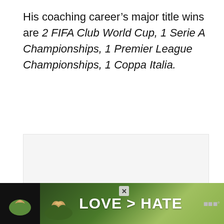His coaching career's major title wins are 2 FIFA Club World Cup, 1 Serie A Championships, 1 Premier League Championships, 1 Coppa Italia.
[Figure (other): Gray placeholder box for an image or embedded content]
[Figure (photo): Advertisement banner at bottom: dark background with hands making a heart shape, text 'LOVE > HATE', close button, and logo mark]